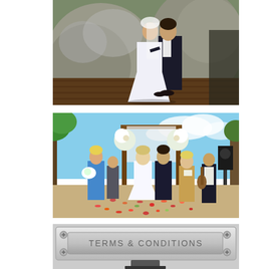[Figure (photo): Wedding couple kissing/embracing near large granite rocks on a wooden deck. Bride in white dress and groom in dark suit.]
[Figure (photo): Outdoor beach wedding ceremony under a floral arch with white draping. Bride in white gown, groom in dark suit, bridesmaids, and musicians with guitar. Rose petals on sandy ground.]
[Figure (screenshot): Terms & Conditions button or panel with a metallic/silver appearance and screws at each corner.]